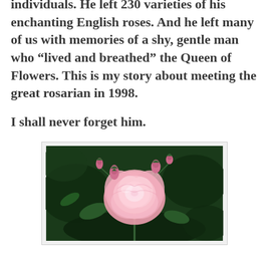individuals. He left 230 varieties of his enchanting English roses. And he left many of us with memories of a shy, gentle man who “lived and breathed” the Queen of Flowers. This is my story about meeting the great rosarian in 1998.
I shall never forget him.
[Figure (photo): A photograph of a large, blooming pink English rose with several smaller pink buds on the same stem, set against dark green leafy background.]